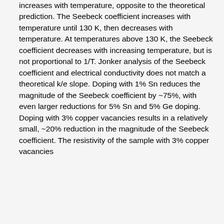increases with temperature, opposite to the theoretical prediction. The Seebeck coefficient increases with temperature until 130 K, then decreases with temperature. At temperatures above 130 K, the Seebeck coefficient decreases with increasing temperature, but is not proportional to 1/T. Jonker analysis of the Seebeck coefficient and electrical conductivity does not match a theoretical k/e slope. Doping with 1% Sn reduces the magnitude of the Seebeck coefficient by ~75%, with even larger reductions for 5% Sn and 5% Ge doping. Doping with 3% copper vacancies results in a relatively small, ~20% reduction in the magnitude of the Seebeck coefficient. The resistivity of the sample with 3% copper vacancies